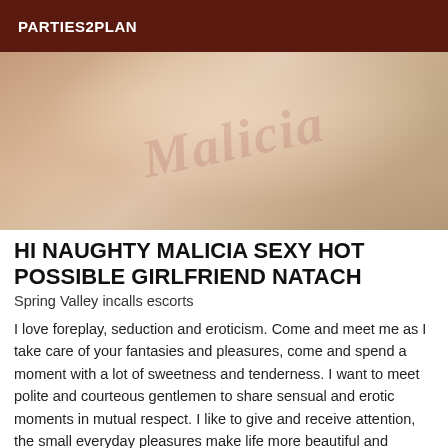PARTIES2PLAN
[Figure (photo): Close-up photo of a woman's hands with red nail polish resting on white fabric/bedding, with a watermark reading 'Malicia' overlaid on the image.]
HI NAUGHTY MALICIA SEXY HOT POSSIBLE GIRLFRIEND NATACH
Spring Valley incalls escorts
I love foreplay, seduction and eroticism. Come and meet me as I take care of your fantasies and pleasures, come and spend a moment with a lot of sweetness and tenderness. I want to meet polite and courteous gentlemen to share sensual and erotic moments in mutual respect. I like to give and receive attention, the small everyday pleasures make life more beautiful and pleasant. Ps:When I don't answer your call you have to